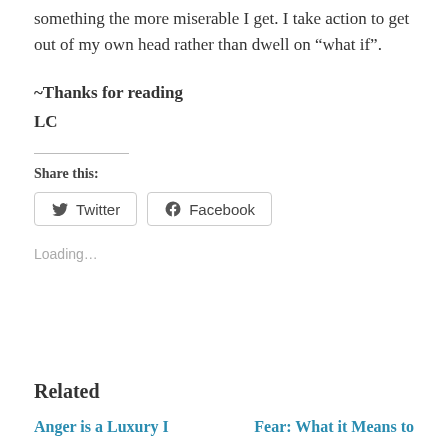something the more miserable I get. I take action to get out of my own head rather than dwell on “what if”.
~Thanks for reading
LC
Share this:
Twitter
Facebook
Loading...
Related
Anger is a Luxury I
Fear: What it Means to